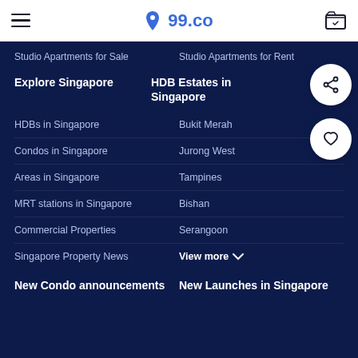99.co
Studio Apartments for Sale
Studio Apartments for Rent
Explore Singapore
HDB Estates in Singapore
HDBs in Singapore
Bukit Merah
Condos in Singapore
Jurong West
Areas in Singapore
Tampines
MRT stations in Singapore
Bishan
Commercial Properties
Serangoon
Singapore Property News
View more
New Condo announcements
New Launches in Singapore